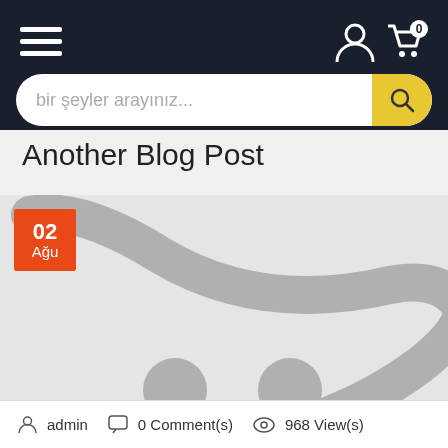Navigation header with hamburger menu, user icon, cart icon with badge 0, and search bar with placeholder 'bir şeyler arayınız...'
Another Blog Post
[Figure (photo): Blog post placeholder image with shopping cart graphic on light gray background, with orange date badge showing '02 Ağu']
admin  0 Comment(s)  968 View(s)